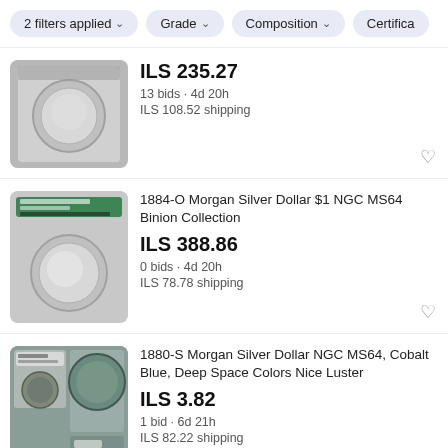2 filters applied   Grade   Composition   Certifica
ILS 235.27
13 bids · 4d 20h
ILS 108.52 shipping
1884-O Morgan Silver Dollar $1 NGC MS64 Binion Collection
ILS 388.86
0 bids · 4d 20h
ILS 78.78 shipping
1880-S Morgan Silver Dollar NGC MS64, Cobalt Blue, Deep Space Colors Nice Luster
ILS 3.82
1 bid · 6d 21h
ILS 82.22 shipping